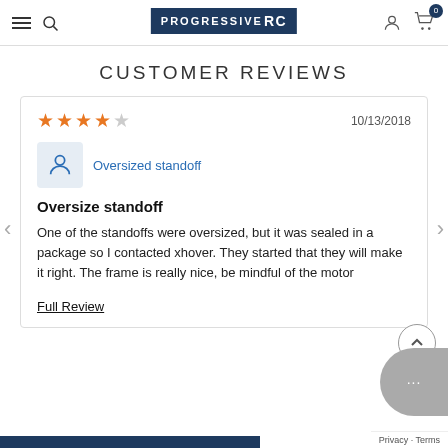PROGRESSIVE RC
CUSTOMER REVIEWS
10/13/2018
Oversized standoff
Oversize standoff
One of the standoffs were oversized, but it was sealed in a package so I contacted xhover. They started that they will make it right. The frame is really nice, be mindful of the motor
Full Review